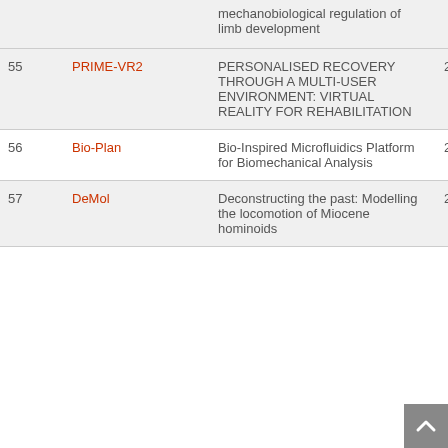| # | Name | Title | Year |
| --- | --- | --- | --- |
|  |  | mechanobiological regulation of limb development |  |
| 55 | PRIME-VR2 | PERSONALISED RECOVERY THROUGH A MULTI-USER ENVIRONMENT: VIRTUAL REALITY FOR REHABILITATION | 2019 |
| 56 | Bio-Plan | Bio-Inspired Microfluidics Platform for Biomechanical Analysis | 2019 |
| 57 | DeMol | Deconstructing the past: Modelling the locomotion of Miocene hominoids | 2020 |